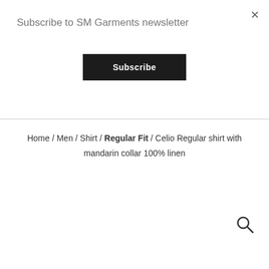Subscribe to SM Garments newsletter
Subscribe
Home / Men / Shirt / Regular Fit / Celio Regular shirt with mandarin collar 100% linen
[Figure (other): Search magnifying glass icon]